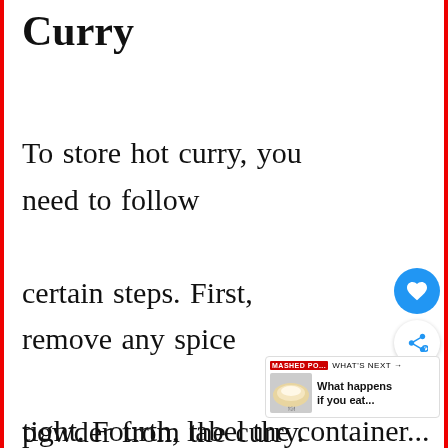Curry
To store hot curry, you need to follow certain steps. First, remove any spice powder from the curry. Second, place the curry in a clean glass jar or plastic container. Third, cover the cont...
tight... Fourth, label the container...